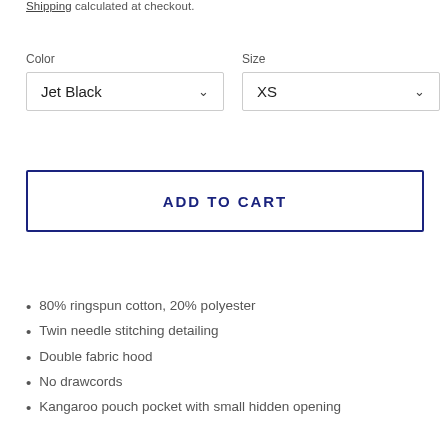Shipping calculated at checkout.
Color
Jet Black
Size
XS
ADD TO CART
80% ringspun cotton, 20% polyester
Twin needle stitching detailing
Double fabric hood
No drawcords
Kangaroo pouch pocket with small hidden opening